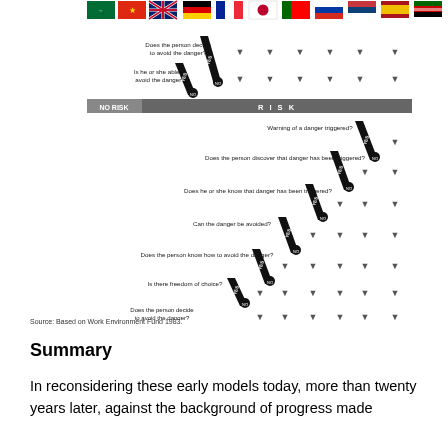[Figure (flowchart): A risk assessment flowchart (staircase decision tree) with national flag icons at top. Questions cascade diagonally: 'Does the person decide to avoid the danger?', 'Is he or she able to avoid the danger?', then RISK section with questions about warning, discovery, knowledge, avoidance ability, freedom of choice, decision, and physical avoidance. Outcomes: NO RISK and RISK at top; NO HARM and PERSONAL INJURY AND/OR MATERIAL DAMAGE at bottom.]
Source: Based on Work Environment Fund 1983.
Summary
In reconsidering these early models today, more than twenty years later, against the background of progress made